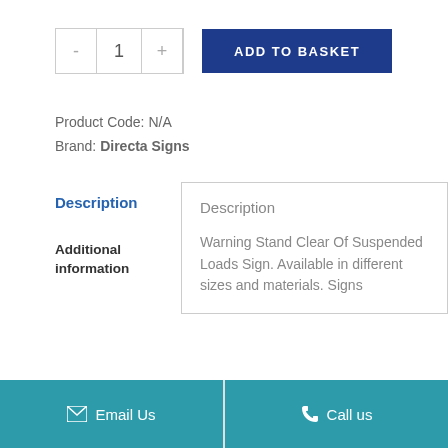[Figure (other): Quantity selector (minus, 1, plus) and ADD TO BASKET button]
Product Code: N/A
Brand: Directa Signs
Description
Additional information
Description
Warning Stand Clear Of Suspended Loads Sign. Available in different sizes and materials. Signs
Email Us   Call us